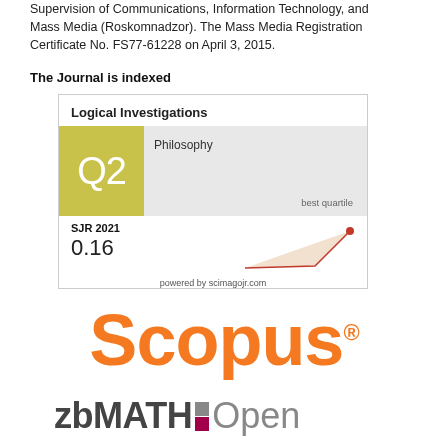Supervision of Communications, Information Technology, and Mass Media (Roskomnadzor). The Mass Media Registration Certificate No. FS77-61228 on April 3, 2015.
The Journal is indexed
[Figure (infographic): Scimago Journal Rank widget showing Logical Investigations journal, Q2 in Philosophy (best quartile), SJR 2021: 0.16, with a rising orange line chart. Powered by scimagojr.com]
[Figure (logo): Scopus logo in orange with registered trademark symbol]
[Figure (logo): zbMATH Open logo with colored squares between zb and MATH]